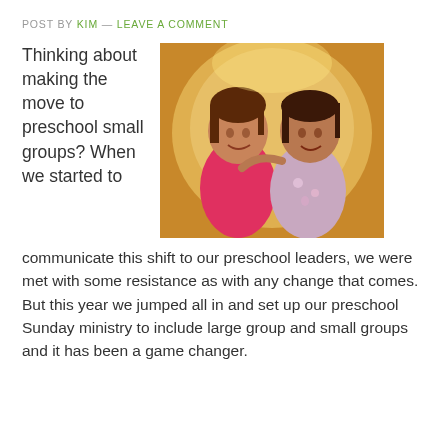POST BY KIM — LEAVE A COMMENT
Thinking about making the move to preschool small groups? When we started to communicate this shift to our preschool leaders, we were met with some resistance as with any change that comes. But this year we jumped all in and set up our preschool Sunday ministry to include large group and small groups and it has been a game changer.
[Figure (photo): Two young girls (preschool age) smiling and posing together inside a yellow tunnel or slide. One girl wears a pink/red top, the other wears a floral jacket.]